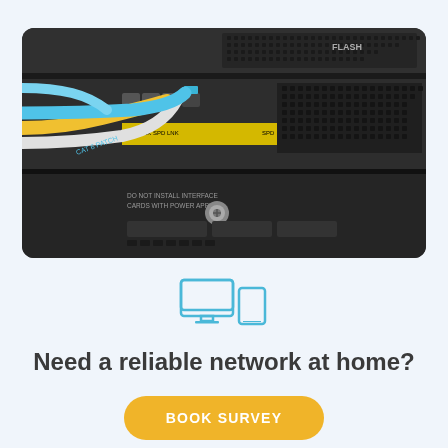[Figure (photo): Close-up photo of network patch cables (yellow, white, blue) plugged into a rack-mounted network switch showing ports labeled POWER, STATUS, ACTIVE, VPN, FLASH and a sticker reading DO NOT INSTALL INTERFACE CARDS WITH POWER APPLIED. Labels on cables include CAT 6 PATCH.]
[Figure (illustration): Outline icon of a desktop monitor and a tablet/phone device in light blue color]
Need a reliable network at home?
BOOK SURVEY